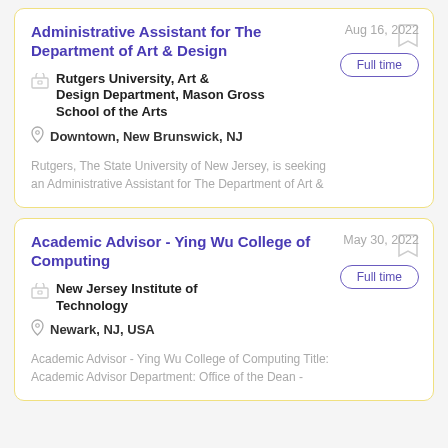Administrative Assistant for The Department of Art & Design
Aug 16, 2022
Full time
Rutgers University, Art & Design Department, Mason Gross School of the Arts
Downtown, New Brunswick, NJ
Rutgers, The State University of New Jersey, is seeking an Administrative Assistant for The Department of Art &
Academic Advisor - Ying Wu College of Computing
May 30, 2022
Full time
New Jersey Institute of Technology
Newark, NJ, USA
Academic Advisor - Ying Wu College of Computing Title: Academic Advisor Department: Office of the Dean -